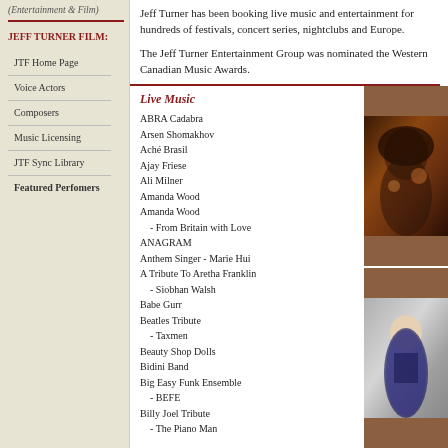(Entertainment & Film)
JEFF TURNER FILM:
Jeff Turner has been booking live music and entertainment for hundreds of festivals, concert series, nightclubs and Europe.
The Jeff Turner Entertainment Group was nominated the Western Canadian Music Awards.
JTF Home Page
Voice Actors
Composers
Music Licensing
JTF Sync Library
Featured Perfomers
Live Music
ABRA Cadabra
Arsen Shomakhov
Aché Brasil
Ajay Friese
Ali Milner
Amanda Wood
Amanda Wood
  - From Britain with Love
ANAGRAM
Anthem Singer - Marie Hui
A Tribute To Aretha Franklin
  - Siobhan Walsh
Babe Gurr
Beatles Tribute
  - Taxmen
Beauty Shop Dolls
Bidini Band
Big Easy Funk Ensemble
  - BEFE
Billy Joel Tribute
  - The Piano Man
[Figure (photo): Photo of a performer with curly hair on stage]
[Figure (photo): Photo of a person in a patterned top]